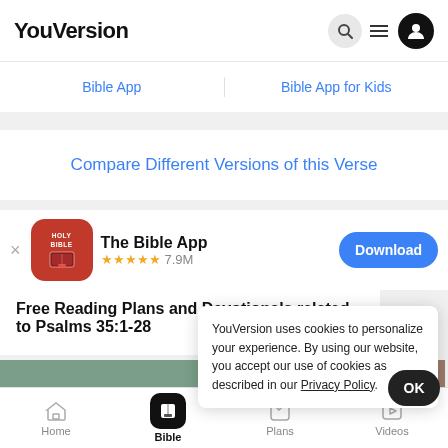YouVersion
Bible App | Bible App for Kids
Compare Different Versions of this Verse
[Figure (screenshot): The Bible App icon — red rounded square with HOLY BIBLE text and book graphic]
The Bible App ★★★★★ 7.9M
Download
Free Reading Plans and Devotionals related to Psalms 35:1-28
YouVersion uses cookies to personalize your experience. By using our website, you accept our use of cookies as described in our Privacy Policy.
OK
Home | Bible | Plans | Videos